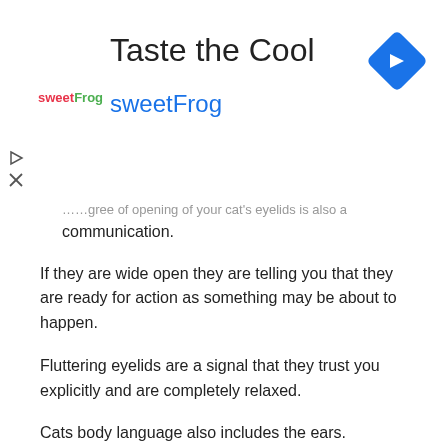[Figure (other): Advertisement banner for sweetFrog 'Taste the Cool' with logo, title, subtitle in blue, and blue diamond navigation icon on right]
communication.
If they are wide open they are telling you that they are ready for action as something may be about to happen.
Fluttering eyelids are a signal that they trust you explicitly and are completely relaxed.
Cats body language also includes the ears.
When their ears are moved forward and erect, it signifies that they are fully alert and extremely focused.
If they are sideways, they are ready for a fight.